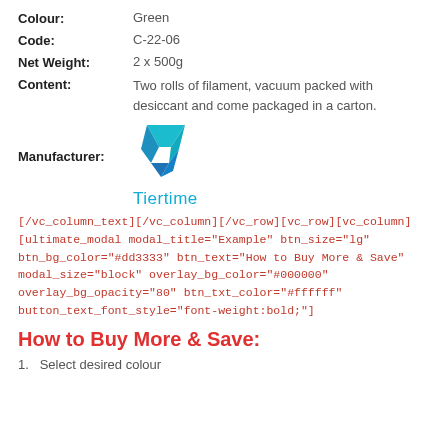Colour: Green
Code: C-22-06
Net Weight: 2 x 500g
Content: Two rolls of filament, vacuum packed with desiccant and come packaged in a carton.
[Figure (logo): Tiertime logo - stylized arrow/flag shape in teal and blue gradient, with 'Tiertime' text in cyan below]
Manufacturer:
[/vc_column_text][/vc_column][/vc_row][vc_row][vc_column][ultimate_modal modal_title="Example" btn_size="lg" btn_bg_color="#dd3333" btn_text="How to Buy More & Save" modal_size="block" overlay_bg_color="#000000" overlay_bg_opacity="80" btn_txt_color="#ffffff" button_text_font_style="font-weight:bold;"]
How to Buy More & Save:
1.  Select desired colour